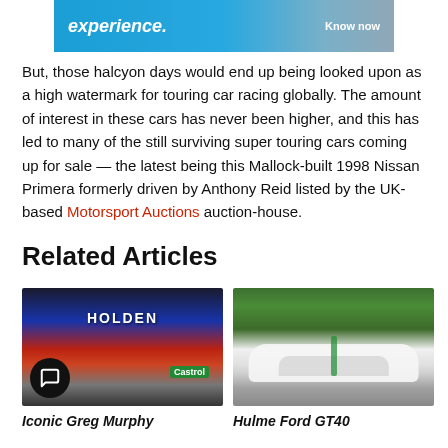[Figure (photo): Advertisement banner at top of page with text 'experience.' and 'Know now' on blue/teal background]
But, those halcyon days would end up being looked upon as a high watermark for touring car racing globally. The amount of interest in these cars has never been higher, and this has led to many of the still surviving super touring cars coming up for sale — the latest being this Mallock-built 1998 Nissan Primera formerly driven by Anthony Reid listed by the UK-based Motorsport Auctions auction-house.
Related Articles
[Figure (photo): Holden racing car with Castrol livery in blue and red colors on track]
Iconic Greg Murphy
[Figure (photo): White and green Ford GT40 on road with trees in background]
Hulme Ford GT40